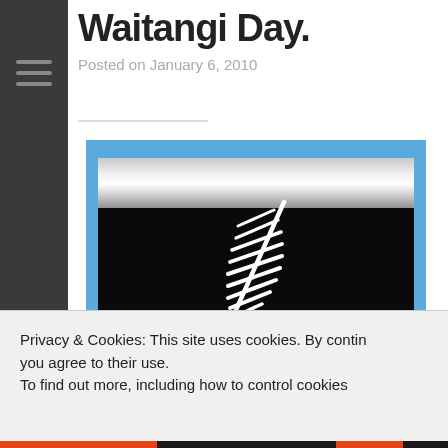Waitangi Day.
Posted on January 6, 2010
[Figure (illustration): A New Zealand alternative flag design: black horizontal band across the centre with a silver fern leaf in white, flanked by silver/white metallic bands top and bottom, with a blue border surrounding the flag.]
Update: this is the flag we want to fly: The Black &
Privacy & Cookies: This site uses cookies. By contin you agree to their use.
To find out more, including how to control cookies
Close and accept